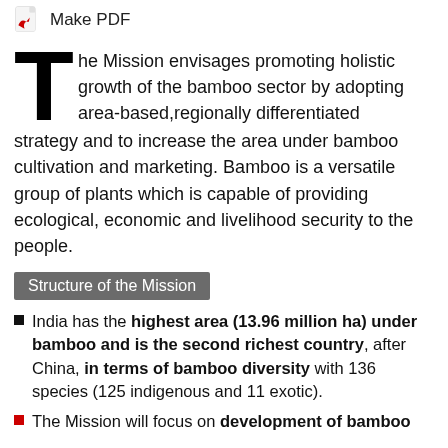Make PDF
The Mission envisages promoting holistic growth of the bamboo sector by adopting area-based,regionally differentiated strategy and to increase the area under bamboo cultivation and marketing. Bamboo is a versatile group of plants which is capable of providing ecological, economic and livelihood security to the people.
Structure of the Mission
India has the highest area (13.96 million ha) under bamboo and is the second richest country, after China, in terms of bamboo diversity with 136 species (125 indigenous and 11 exotic).
The Mission will focus on development of bamboo